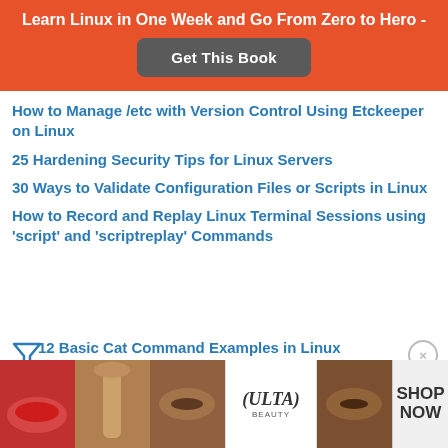Learn Linux in One Week and Go From Zero to Hero -
[Figure (other): Get This Book button on orange banner]
How to Manage /etc with Version Control Using Etckeeper on Linux
25 Hardening Security Tips for Linux Servers
30 Ways to Validate Configuration Files or Scripts in Linux
How to Record and Replay Linux Terminal Sessions using 'script' and 'scriptreplay' Commands
12 Basic Cat Command Examples in Linux
[Figure (photo): ULTA Beauty advertisement banner with makeup images and SHOP NOW text]